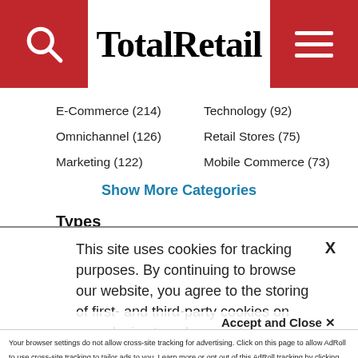TotalRetail
E-Commerce (214)
Technology (92)
Omnichannel (126)
Retail Stores (75)
Marketing (122)
Mobile Commerce (73)
Show More Categories
Types
Best Practices (7)
Special Reports (182)
This site uses cookies for tracking purposes. By continuing to browse our website, you agree to the storing of first- and third-party cookies on your device to enhance site navigation, analyze site usage, and assist in our marketing and
Accept and Close ✕
Your browser settings do not allow cross-site tracking for advertising. Click on this page to allow AdRoll to use cross-site tracking to tailor ads to you. Learn more or opt out of this AdRoll tracking by clicking here. This message only appears once.